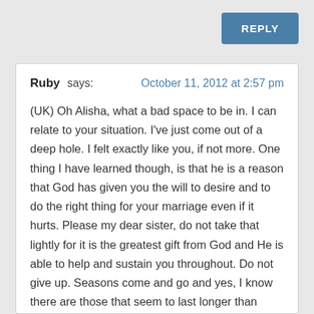REPLY
Ruby says: October 11, 2012 at 2:57 pm
(UK) Oh Alisha, what a bad space to be in. I can relate to your situation. I've just come out of a deep hole. I felt exactly like you, if not more. One thing I have learned though, is that he is a reason that God has given you the will to desire and to do the right thing for your marriage even if it hurts. Please my dear sister, do not take that lightly for it is the greatest gift from God and He is able to help and sustain you throughout. Do not give up. Seasons come and go and yes, I know there are those that seem to last longer than others. Just let the Holy Spirit do His job